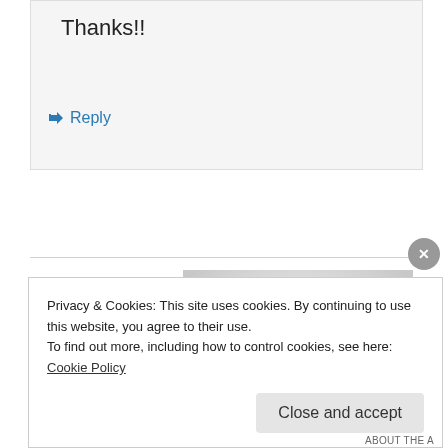Thanks!!
↳ Reply
[Figure (photo): Black and white headshot photograph of a man in a suit, looking at the camera]
Privacy & Cookies: This site uses cookies. By continuing to use this website, you agree to their use.
To find out more, including how to control cookies, see here: Cookie Policy
Close and accept